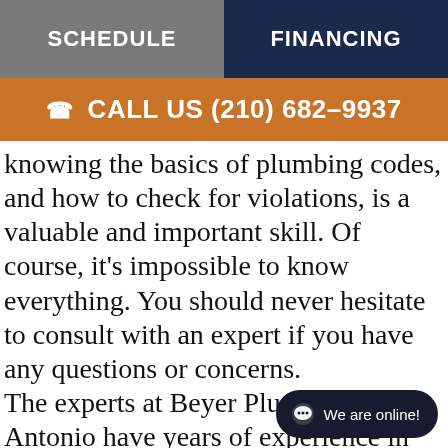SCHEDULE | FINANCING
CALL US (210) 682-9937
knowing the basics of plumbing codes, and how to check for violations, is a valuable and important skill. Of course, it's impossible to know everything. You should never hesitate to consult with an expert if you have any questions or concerns. The experts at Beyer Plumbing in San Antonio have years of experience in every aspect of plumbing codes. We have the tools and expertise to make sure your plumbing is